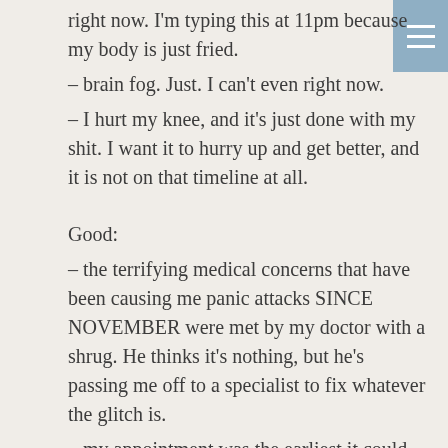right now. I'm typing this at 11pm because my body is just fried.
– brain fog. Just. I can't even right now.
– I hurt my knee, and it's just done with my shit. I want it to hurry up and get better, and it is not on that timeline at all.
Good:
– the terrifying medical concerns that have been causing me panic attacks SINCE NOVEMBER were met by my doctor with a shrug. He thinks it's nothing, but he's passing me off to a specialist to fix whatever the glitch is.
– my appointment was the earliest it could be to appease insurance.
– my doctor thinks we're past the worst of Covid, and even if he's lying, I'm